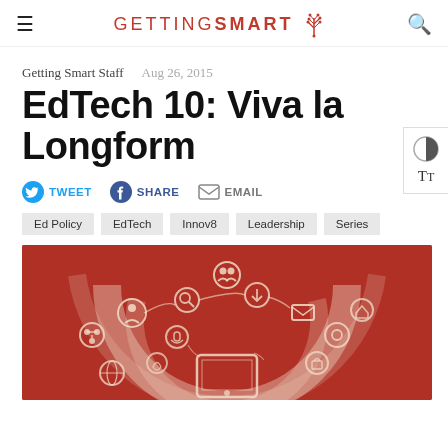GETTING SMART (logo with tree icon, hamburger menu left, search icon right)
Getting Smart Staff   Aug 26, 2015
EdTech 10: Viva la Longform
TWEET   SHARE   EMAIL
Ed Policy   EdTech   Innov8   Leadership   Series
[Figure (infographic): Red background infographic showing interconnected social/technology icons arranged in concentric arcs above a tablet device, with circular icons representing people, mail, share, search, and other digital communication concepts]